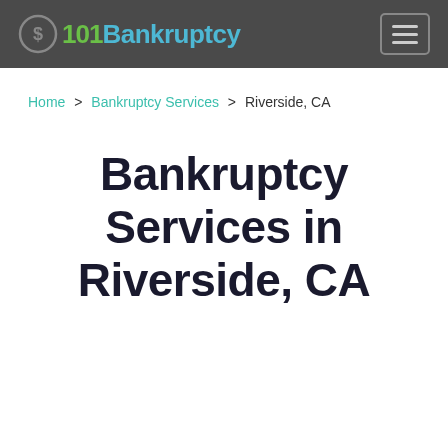101Bankruptcy
Home > Bankruptcy Services > Riverside, CA
Bankruptcy Services in Riverside, CA